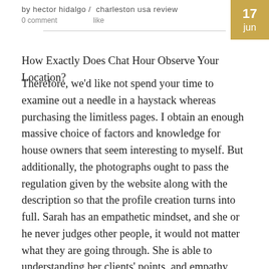by hector hidalgo / charleston usa review
0 comment   like
17 jun
How Exactly Does Chat Hour Observe Your Location?
Therefore, we'd like not spend your time to examine out a needle in a haystack whereas purchasing the limitless pages. I obtain an enough massive choice of factors and knowledge for house owners that seem interesting to myself. But additionally, the photographs ought to pass the regulation given by the website along with the description so that the profile creation turns into full. Sarah has an empathetic mindset, and she or he never judges other people, it would not matter what they are going through. She is able to understanding her clients' points, and empathy allows her additional reading to find the causes and advice on the means in which forward. As you realize, this app is totally free, and no subscription expenses are there; hence